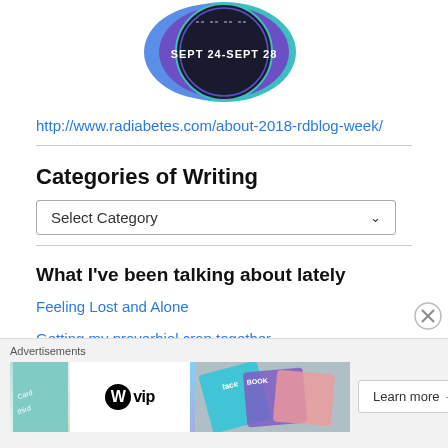[Figure (logo): Circular badge logo with teal and purple colors showing 'SEPT 24-SEPT 28' text, for 2018 RDBlog Week event]
http://www.radiabetes.com/about-2018-rdblog-week/
Categories of Writing
Select Category
What I've been talking about lately
Feeling Lost and Alone
Getting my proverbial crap together
Advertisements